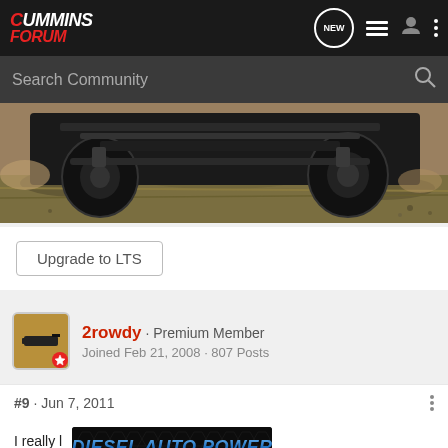Cummins Forum — navigation bar with NEW, list, user, and more icons
Search Community
[Figure (photo): Underside view of a lifted 4x4 truck driving over dirt/grass terrain, dusty outdoor scene]
Upgrade to LTS
2rowdy · Premium Member
Joined Feb 21, 2008 · 807 Posts
#9 · Jun 7, 2011
I really l
[Figure (logo): Diesel Auto Power .com advertisement banner — blue metallic text on dark honeycomb background]